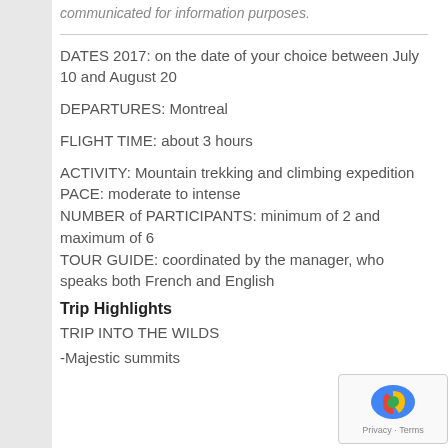communicated for information purposes.
DATES 2017: on the date of your choice between July 10 and August 20
DEPARTURES: Montreal
FLIGHT TIME: about 3 hours
ACTIVITY: Mountain trekking and climbing expedition
PACE: moderate to intense
NUMBER of PARTICIPANTS: minimum of 2 and maximum of 6
TOUR GUIDE: coordinated by the manager, who speaks both French and English
Trip Highlights
TRIP INTO THE WILDS
-Majestic summits